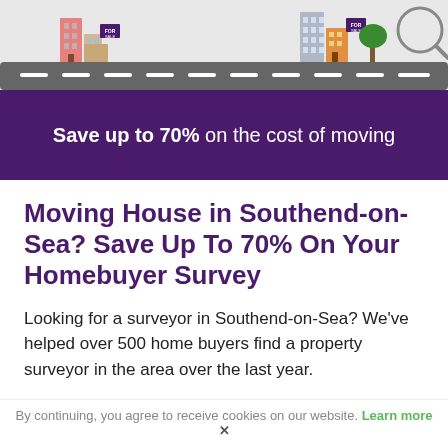[Figure (illustration): Cartoon street scene with buildings for sale on left and right, road with dashed white line in the foreground]
Save up to 70% on the cost of moving
Moving House in Southend-on-Sea? Save Up To 70% On Your Homebuyer Survey
Looking for a surveyor in Southend-on-Sea? We've helped over 500 home buyers find a property surveyor in the area over the last year.
The average property price in this part of Essex is
By continuing, you agree to receive cookies on our website. Learn more ✕